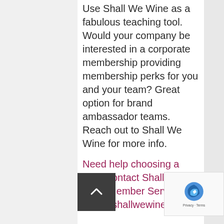Use Shall We Wine as a fabulous teaching tool. Would your company be interested in a corporate membership providing membership perks for you and your team? Great option for brand ambassador teams. Reach out to Shall We Wine for more info.
Need help choosing a tier? Contact Shall We Wine Member Services at sww@shallwewine.com